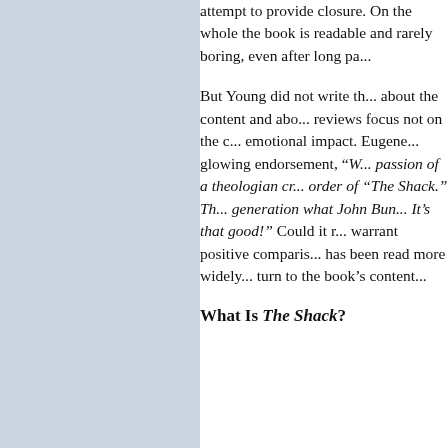attempt to provide closure. On the whole the book is readable and rarely boring, even after long pa...
But Young did not write th... about the content and abo... reviews focus not on the c... emotional impact. Eugene... glowing endorsement, "W... passion of a theologian cr... order of "The Shack." Th... generation what John Bun... It's that good!" Could it r... warrant positive comparisons... has been read more widely... turn to the book's content...
What Is The Shack?